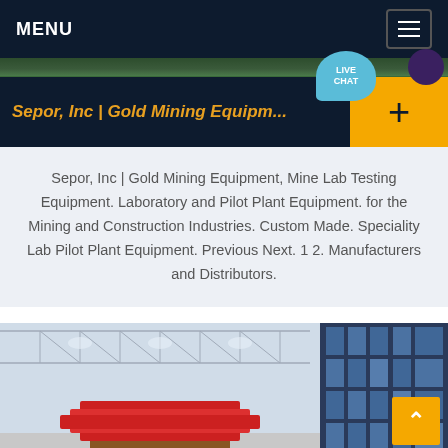MENU
Sepor, Inc | Gold Mining Equipm...
Sepor, Inc | Gold Mining Equipment, Mine Lab Testing Equipment. Laboratory and Pilot Plant Equipment. for the Mining and Construction Industries. Custom Made. Speciality Lab Pilot Plant Equipment. Previous Next. 1 2. Manufacturers and Distributors.
[Figure (photo): Interior of a large industrial warehouse or manufacturing facility with steel roof trusses, skylights, and industrial equipment including what appears to be a red mining/processing machine in the foreground. Large windows on the right side.]